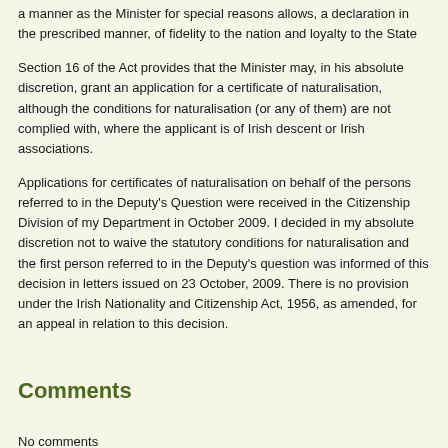a manner as the Minister for special reasons allows, a declaration in the prescribed manner, of fidelity to the nation and loyalty to the State
Section 16 of the Act provides that the Minister may, in his absolute discretion, grant an application for a certificate of naturalisation, although the conditions for naturalisation (or any of them) are not complied with, where the applicant is of Irish descent or Irish associations.
Applications for certificates of naturalisation on behalf of the persons referred to in the Deputy's Question were received in the Citizenship Division of my Department in October 2009. I decided in my absolute discretion not to waive the statutory conditions for naturalisation and the first person referred to in the Deputy's question was informed of this decision in letters issued on 23 October, 2009. There is no provision under the Irish Nationality and Citizenship Act, 1956, as amended, for an appeal in relation to this decision.
Comments
No comments